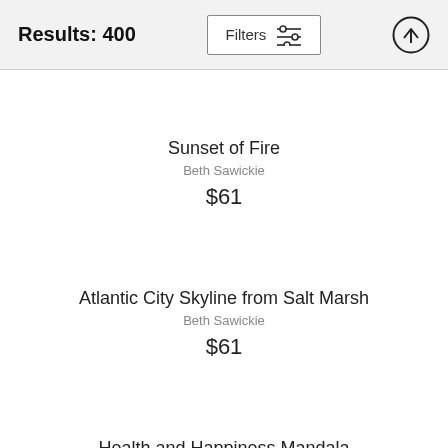Results: 400   Filters
Sunset of Fire
Beth Sawickie
$61
Atlantic City Skyline from Salt Marsh
Beth Sawickie
$61
Health and Happiness Mandala
Beth Sawickie